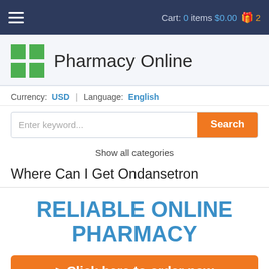Cart: 0 items $0.00 2
[Figure (logo): Pharmacy Online logo with green cross icon]
Currency: USD | Language: English
Enter keyword...
Show all categories
Where Can I Get Ondansetron
RELIABLE ONLINE PHARMACY
> Click here to order now